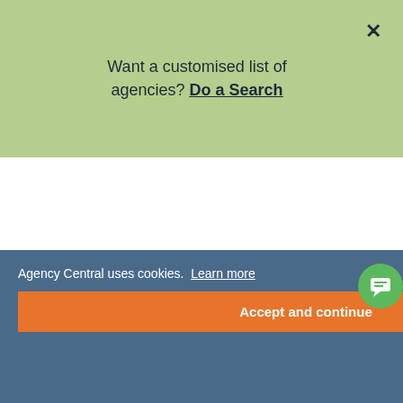Want a customised list of agencies? Do a Search
Environmental; and Power and Energy sectors. Based in Worcester, they provide staffing solutions to clients in the West Midlands including investors, developers, consultants and contractors.
24C New St, Worcester, Worcestershire, WR1 2DP
Display number
Visit website
Agency Central uses cookies. Learn more
Accept and continue
Dallas Wylde
Dallas Wylde is a talent acquisition company within the Manufacturing, Construction and House-building space. They've worked with clients like Redrow, Sanctuary Homes, and Taylor